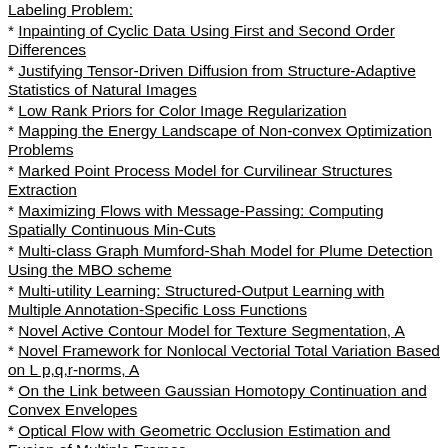Labeling Problem:
* Inpainting of Cyclic Data Using First and Second Order Differences
* Justifying Tensor-Driven Diffusion from Structure-Adaptive Statistics of Natural Images
* Low Rank Priors for Color Image Regularization
* Mapping the Energy Landscape of Non-convex Optimization Problems
* Marked Point Process Model for Curvilinear Structures Extraction
* Maximizing Flows with Message-Passing: Computing Spatially Continuous Min-Cuts
* Multi-class Graph Mumford-Shah Model for Plume Detection Using the MBO scheme
* Multi-utility Learning: Structured-Output Learning with Multiple Annotation-Specific Loss Functions
* Novel Active Contour Model for Texture Segmentation, A
* Novel Framework for Nonlocal Vectorial Total Variation Based on L p,q,r-norms, A
* On the Link between Gaussian Homotopy Continuation and Convex Envelopes
* Optical Flow with Geometric Occlusion Estimation and Fusion of Multiple Frames
* Point Sets Matching by Feature-Aware Mixture Point Matching Algorithm
* Randomly Walking Can Get You Lost: Graph Segmentation